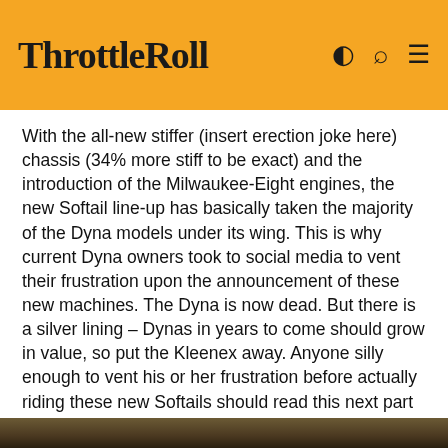ThrottleRoll
With the all-new stiffer (insert erection joke here) chassis (34% more stiff to be exact) and the introduction of the Milwaukee-Eight engines, the new Softail line-up has basically taken the majority of the Dyna models under its wing. This is why current Dyna owners took to social media to vent their frustration upon the announcement of these new machines. The Dyna is now dead. But there is a silver lining – Dynas in years to come should grow in value, so put the Kleenex away. Anyone silly enough to vent his or her frustration before actually riding these new Softails should read this next part carefully – these bikes do not disappoint, so go talk to your local dealer and book a test ride.
[Figure (photo): Bottom edge of a photo showing foliage/motorcycles outdoors]